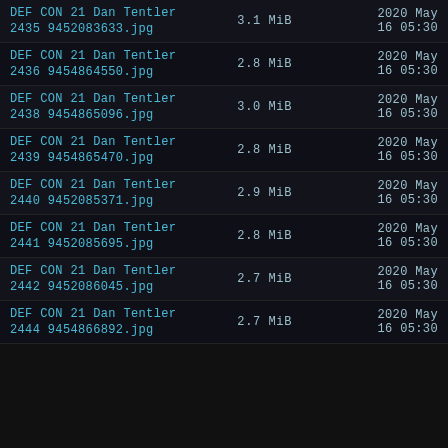DEF CON 21 Dan Tentler
2435 9452083633.jpg	3.1 MiB	2020 May 16 05:30
DEF CON 21 Dan Tentler
2436 9454864550.jpg	2.8 MiB	2020 May 16 05:30
DEF CON 21 Dan Tentler
2438 9454865096.jpg	3.0 MiB	2020 May 16 05:30
DEF CON 21 Dan Tentler
2439 9454865470.jpg	2.8 MiB	2020 May 16 05:30
DEF CON 21 Dan Tentler
2440 9452085371.jpg	2.9 MiB	2020 May 16 05:30
DEF CON 21 Dan Tentler
2441 9452085695.jpg	2.8 MiB	2020 May 16 05:30
DEF CON 21 Dan Tentler
2442 9452086045.jpg	2.7 MiB	2020 May 16 05:30
DEF CON 21 Dan Tentler
2444 9454866892.jpg	2.7 MiB	2020 May 16 05:30